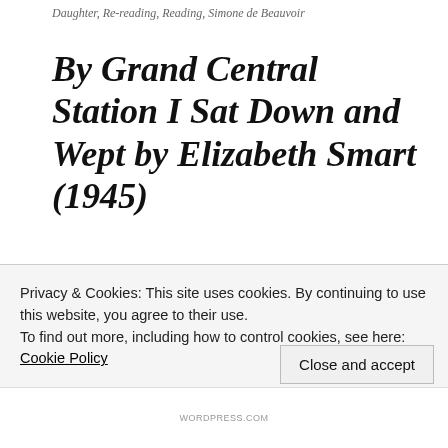Daughter, Re-reading, Reading, Simone de Beauvoir
By Grand Central Station I Sat Down and Wept by Elizabeth Smart (1945)
July 27, 2017
4 Comments
This is one of those books that I had heard of vaguely and meant to read for ages - but for some reason didn't. Luckily my reading lists project is getting me to read more of these sorts of books. And so I
Privacy & Cookies: This site uses cookies. By continuing to use this website, you agree to their use.
To find out more, including how to control cookies, see here: Cookie Policy
Close and accept